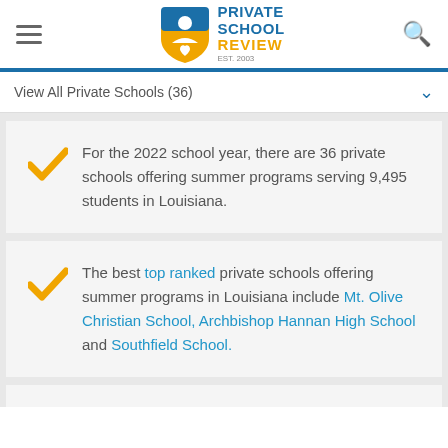Private School Review
View All Private Schools (36)
For the 2022 school year, there are 36 private schools offering summer programs serving 9,495 students in Louisiana.
The best top ranked private schools offering summer programs in Louisiana include Mt. Olive Christian School, Archbishop Hannan High School and Southfield School.